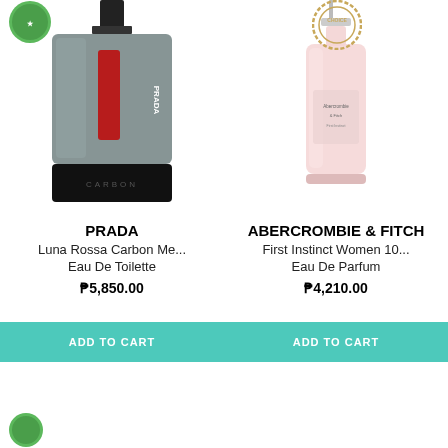[Figure (photo): Prada Luna Rossa Carbon perfume bottle (dark grey rectangular bottle with red PRADA label and CARBON text at base)]
PRADA
Luna Rossa Carbon Me...
Eau De Toilette
₱5,850.00
ADD TO CART
[Figure (photo): Abercrombie & Fitch First Instinct Women perfume bottle (tall pink/rose rectangular glass bottle)]
ABERCROMBIE & FITCH
First Instinct Women 10...
Eau De Parfum
₱4,210.00
ADD TO CART